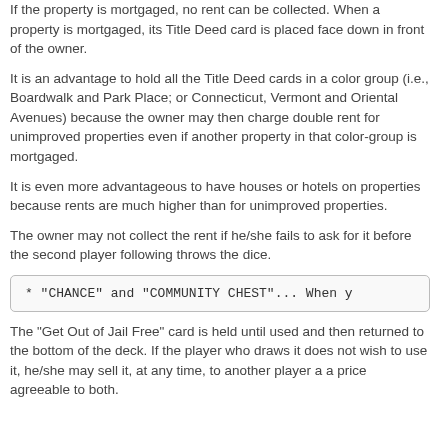If the property is mortgaged, no rent can be collected. When a property is mortgaged, its Title Deed card is placed face down in front of the owner.
It is an advantage to hold all the Title Deed cards in a color group (i.e., Boardwalk and Park Place; or Connecticut, Vermont and Oriental Avenues) because the owner may then charge double rent for unimproved properties even if another property in that color-group is mortgaged.
It is even more advantageous to have houses or hotels on properties because rents are much higher than for unimproved properties.
The owner may not collect the rent if he/she fails to ask for it before the second player following throws the dice.
* "CHANCE" and "COMMUNITY CHEST"... When y
The "Get Out of Jail Free" card is held until used and then returned to the bottom of the deck. If the player who draws it does not wish to use it, he/she may sell it, at any time, to another player a a price agreeable to both.